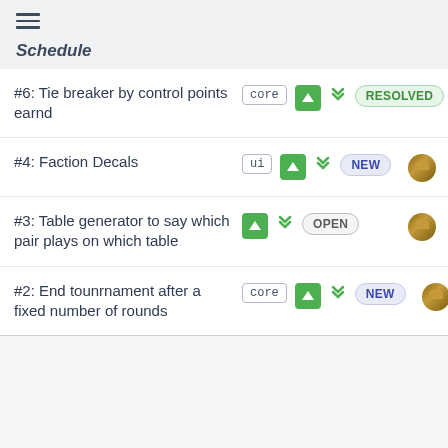Schedule
#6: Tie breaker by control points earnd — core — RESOLVED
#4: Faction Decals — ui — NEW
#3: Table generator to say which pair plays on which table — OPEN
#2: End tounrnament after a fixed number of rounds — core — NEW